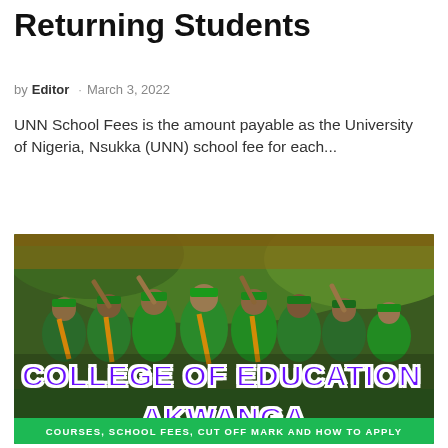Returning Students
by Editor · March 3, 2022
UNN School Fees is the amount payable as the University of Nigeria, Nsukka (UNN) school fee for each...
[Figure (photo): Graduation ceremony photo showing students in green academic gowns and caps raising their hands, with overlay text reading 'COLLEGE OF EDUCATION AKWANGA' in purple bold letters and a green banner at the bottom reading 'COURSES, SCHOOL FEES, CUT OFF MARK AND HOW TO APPLY']